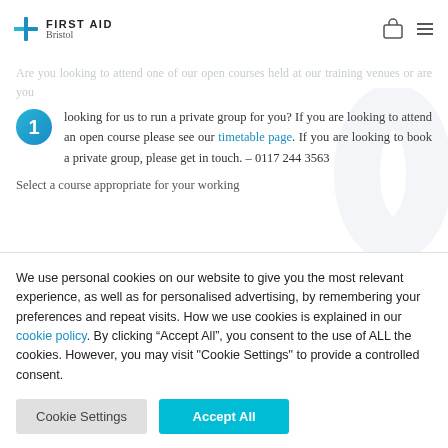FIRST AID Bristol
Are you looking to attend one of our open courses held at our training venues or are you looking for us to run a private group for you? If you are looking to attend an open course please see our timetable page. If you are looking to book a private group, please get in touch. – 0117 244 3563
Select a course appropriate for your working
We use personal cookies on our website to give you the most relevant experience, as well as for personalised advertising, by remembering your preferences and repeat visits. How we use cookies is explained in our cookie policy. By clicking “Accept All”, you consent to the use of ALL the cookies. However, you may visit "Cookie Settings" to provide a controlled consent.